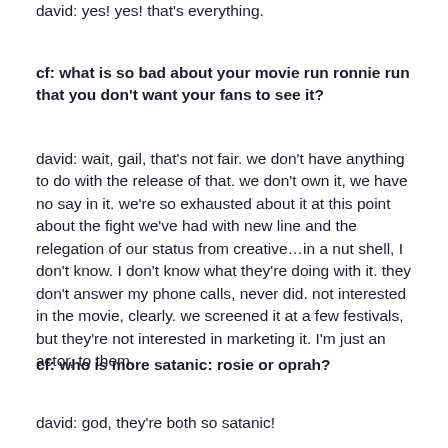david: yes! yes! that's everything.
cf: what is so bad about your movie run ronnie run that you don't want your fans to see it?
david: wait, gail, that's not fair. we don't have anything to do with the release of that. we don't own it, we have no say in it. we're so exhausted about it at this point about the fight we've had with new line and the relegation of our status from creative…in a nut shell, I don't know. I don't know what they're doing with it. they don't answer my phone calls, never did. not interested in the movie, clearly. we screened it at a few festivals, but they're not interested in marketing it. I'm just an actor, to them.
cf: who is more satanic: rosie or oprah?
david: god, they're both so satanic!